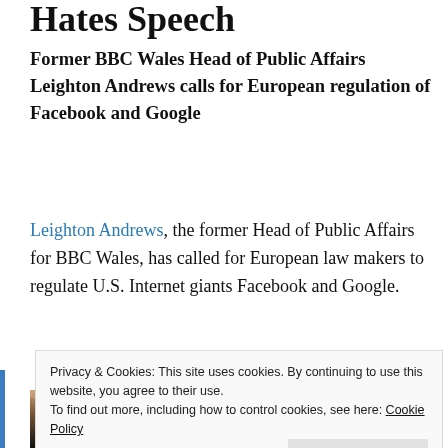Hates Speech
Former BBC Wales Head of Public Affairs Leighton Andrews calls for European regulation of Facebook and Google
Leighton Andrews, the former Head of Public Affairs for BBC Wales, has called for European law makers to regulate U.S. Internet giants Facebook and Google.
[Figure (photo): Partial photo strip visible behind cookie consent banner]
Privacy & Cookies: This site uses cookies. By continuing to use this website, you agree to their use.
To find out more, including how to control cookies, see here: Cookie Policy
Close and accept